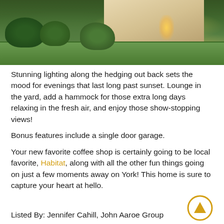[Figure (photo): Exterior nighttime photo of a house with landscape lighting along hedging, green lawn, bushes, and warm glowing lights]
Stunning lighting along the hedging out back sets the mood for evenings that last long past sunset. Lounge in the yard, add a hammock for those extra long days relaxing in the fresh air, and enjoy those show-stopping views!
Bonus features include a single door garage.
Your new favorite coffee shop is certainly going to be local favorite, Habitat, along with all the other fun things going on just a few moments away on York! This home is sure to capture your heart at hello.
Listed By: Jennifer Cahill, John Aaroe Group